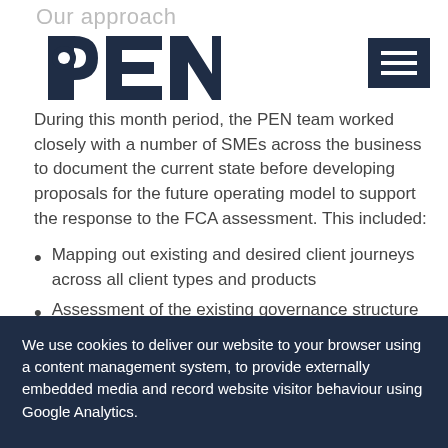Our approach
[Figure (logo): PEN logo in dark navy blue]
During this month period, the PEN team worked closely with a number of SMEs across the business to document the current state before developing proposals for the future operating model to support the response to the FCA assessment. This included:
Mapping out existing and desired client journeys across all client types and products
Assessment of the existing governance structure
A full review of the organisational structure and recommendations for improvement
Recommendations for a desired operating model focused on efficiency, compliance and customer
We use cookies to deliver our website to your browser using a content management system, to provide externally embedded media and record website visitor behaviour using Google Analytics.